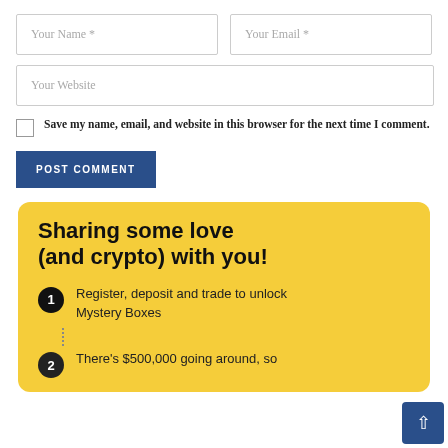Your Name *
Your Email *
Your Website
Save my name, email, and website in this browser for the next time I comment.
POST COMMENT
Sharing some love (and crypto) with you!
Register, deposit and trade to unlock Mystery Boxes
There's $500,000 going around, so